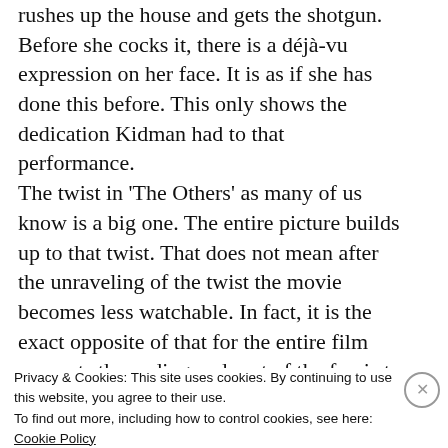rushes up the house and gets the shotgun. Before she cocks it, there is a déjà-vu expression on her face. It is as if she has done this before. This only shows the dedication Kidman had to that performance.
The twist in 'The Others' as many of us know is a big one. The entire picture builds up to that twist. That does not mean after the unraveling of the twist the movie becomes less watchable. In fact, it is the exact opposite of that for the entire film supports the ending and part of the fun is to catch all the indicators a second, third, or fourth time around. How can we...
Privacy & Cookies: This site uses cookies. By continuing to use this website, you agree to their use.
To find out more, including how to control cookies, see here:
Cookie Policy
Close and accept